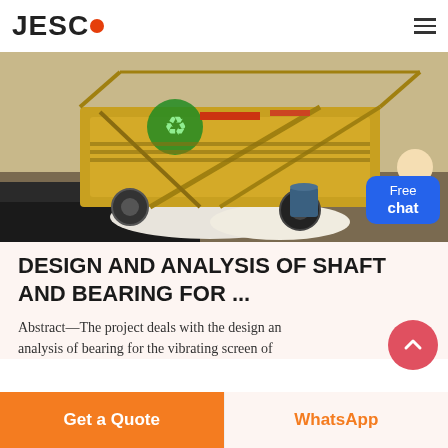JESCO
[Figure (photo): Industrial mining/screening equipment — yellow vibrating screen machine on outdoor site with green recycling symbol visible, dated 2005 2 24]
DESIGN AND ANALYSIS OF SHAFT AND BEARING FOR ...
Abstract—The project deals with the design and analysis of bearing for the vibrating screen of
Get a Quote
WhatsApp